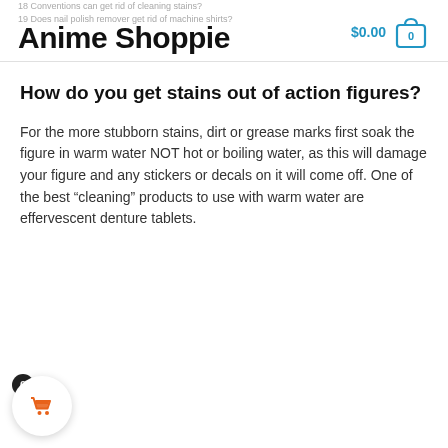Anime Shoppie — $0.00 [cart icon]
How do you get stains out of action figures?
For the more stubborn stains, dirt or grease marks first soak the figure in warm water NOT hot or boiling water, as this will damage your figure and any stickers or decals on it will come off. One of the best “cleaning” products to use with warm water are effervescent denture tablets.